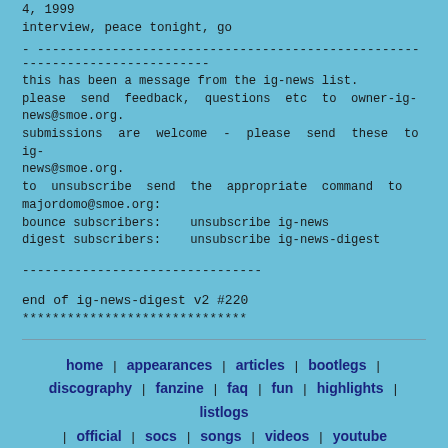4, 1999
interview, peace tonight, go
- ----------------------------------------------------------------------------
this has been a message from the ig-news list.
please send feedback, questions etc to owner-ig-news@smoe.org.
submissions are welcome - please send these to ig-news@smoe.org.
to unsubscribe send the appropriate command to majordomo@smoe.org:
bounce subscribers:    unsubscribe ig-news
digest subscribers:    unsubscribe ig-news-digest
--------------------------------
end of ig-news-digest v2 #220
******************************
home | appearances | articles | bootlegs | discography | fanzine | faq | fun | highlights | listlogs | official | socs | songs | videos | youtube